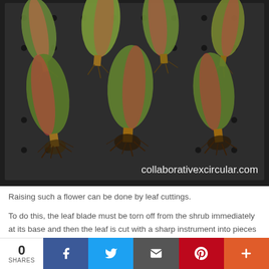[Figure (photo): Photo of multiple succulent leaf cuttings with roots/stems exposed, laid out on a dark plastic tray with holes. The leaves are green and reddish-purple in color. Watermark reads 'collaborativexcircular.com']
Raising such a flower can be done by leaf cuttings.
To do this, the leaf blade must be torn off from the shrub immediately at its base and then the leaf is cut with a sharp instrument into pieces which should vary in length from 40 to 60 mm, marking the lower or
0 SHARES | Facebook | Twitter | Email | Pinterest | More